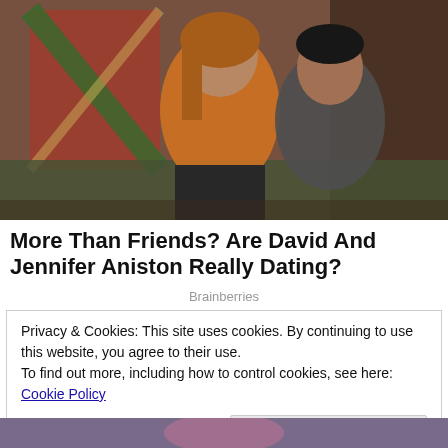[Figure (photo): A woman in an orange top and a man in a dark grey shirt sitting together on a couch, in front of a brick wall with a colorful tapestry. Appears to be a TV show set.]
More Than Friends? Are David And Jennifer Aniston Really Dating?
Brainberries
Privacy & Cookies: This site uses cookies. By continuing to use this website, you agree to their use.
To find out more, including how to control cookies, see here: Cookie Policy
[Figure (photo): Bottom partial view of another photo, appears to show a person.]